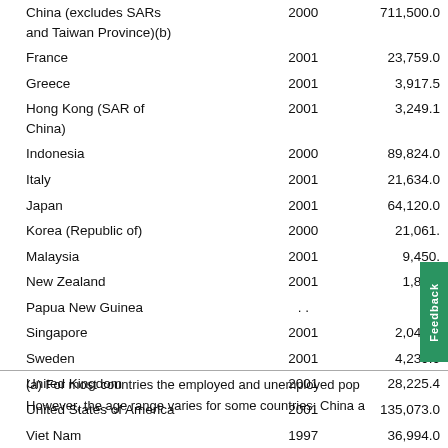| Country | Year | Value |
| --- | --- | --- |
| China (excludes SARs and Taiwan Province)(b) | 2000 | 711,500.0 |
| France | 2001 | 23,759.0 |
| Greece | 2001 | 3,917.5 |
| Hong Kong (SAR of China) | 2001 | 3,249.1 |
| Indonesia | 2000 | 89,824.0 |
| Italy | 2001 | 21,634.0 |
| Japan | 2001 | 64,120.0 |
| Korea (Republic of) | 2000 | 21,061. |
| Malaysia | 2001 | 9,450. |
| New Zealand | 2001 | 1,823. |
| Papua New Guinea | .. | n.a |
| Singapore | 2001 | 2,046.7 |
| Sweden | 2001 | 4,239.0 |
| United Kingdom | 2001 | 28,225.4 |
| United States of America | 2001 | 135,073.0 |
| Viet Nam | 1997 | 36,994.0 |
(a) For most countries the employed and unemployed pop
However, the age range varies for some countries: China a